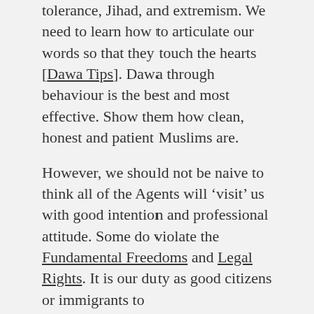tolerance, Jihad, and extremism. We need to learn how to articulate our words so that they touch the hearts [Dawa Tips]. Dawa through behaviour is the best and most effective. Show them how clean, honest and patient Muslims are.

However, we should not be naive to think all of the Agents will ‘visit’ us with good intention and professional attitude. Some do violate the Fundamental Freedoms and Legal Rights. It is our duty as good citizens or immigrants to